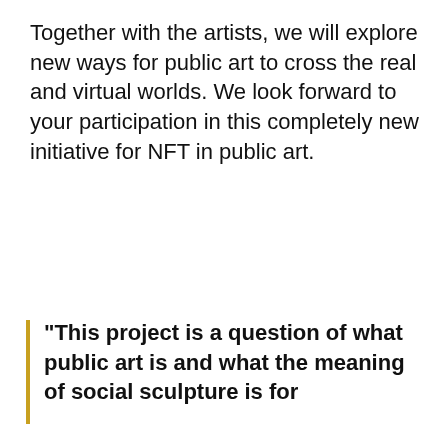Together with the artists, we will explore new ways for public art to cross the real and virtual worlds. We look forward to your participation in this completely new initiative for NFT in public art.
"This project is a question of what public art is and what the meaning of social sculpture is for
We use cookies on our website to give you the most relevant experience by remembering your preferences and repeat visits. By clicking “Accept All”, you consent to the use of ALL the cookies. However, you may visit “Cookie Settings” to provide a controlled consent.
Read our Cookie Statement